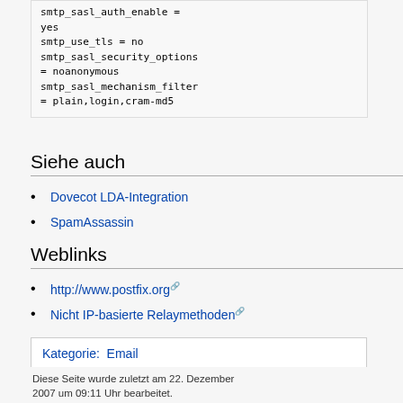smtp_sasl_auth_enable = yes
smtp_use_tls = no
smtp_sasl_security_options = noanonymous
smtp_sasl_mechanism_filter = plain,login,cram-md5
Siehe auch
Dovecot LDA-Integration
SpamAssassin
Weblinks
http://www.postfix.org
Nicht IP-basierte Relaymethoden
Kategorie:  Email
Diese Seite wurde zuletzt am 22. Dezember 2007 um 09:11 Uhr bearbeitet.